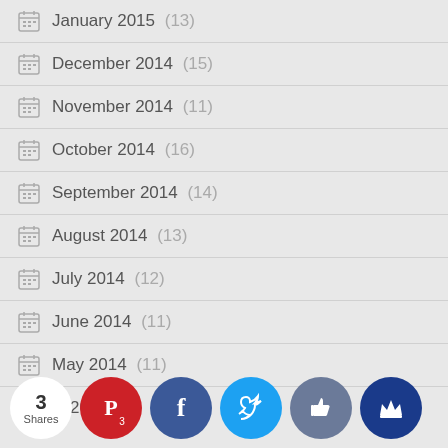January 2015 (13)
December 2014 (15)
November 2014 (11)
October 2014 (16)
September 2014 (14)
August 2014 (13)
July 2014 (12)
June 2014 (11)
May 2014 (11)
April 20... (partial)
3 Shares